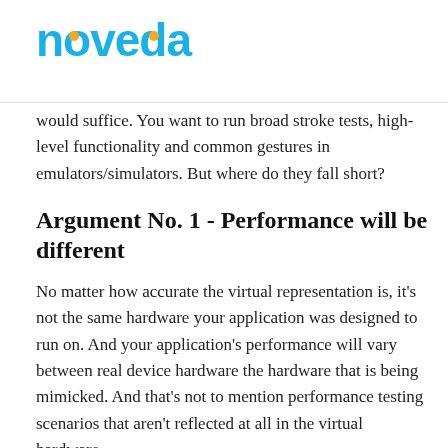[Figure (logo): Noveda logo in blue with orange dots on the letters]
would suffice. You want to run broad stroke tests, high-level functionality and common gestures in emulators/simulators. But where do they fall short?
Argument No. 1 - Performance will be different
No matter how accurate the virtual representation is, it's not the same hardware your application was designed to run on. And your application's performance will vary between real device hardware the hardware that is being mimicked. And that's not to mention performance testing scenarios that aren't reflected at all in the virtual hardware…